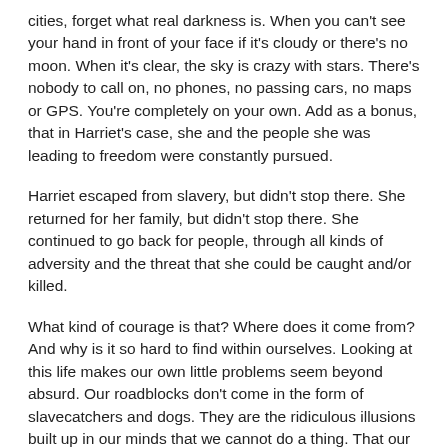cities, forget what real darkness is. When you can't see your hand in front of your face if it's cloudy or there's no moon. When it's clear, the sky is crazy with stars. There's nobody to call on, no phones, no passing cars, no maps or GPS. You're completely on your own. Add as a bonus, that in Harriet's case, she and the people she was leading to freedom were constantly pursued.
Harriet escaped from slavery, but didn't stop there. She returned for her family, but didn't stop there. She continued to go back for people, through all kinds of adversity and the threat that she could be caught and/or killed.
What kind of courage is that? Where does it come from? And why is it so hard to find within ourselves. Looking at this life makes our own little problems seem beyond absurd. Our roadblocks don't come in the form of slavecatchers and dogs. They are the ridiculous illusions built up in our minds that we cannot do a thing. That our goals are too far off and we don't have what it takes.
If Harriet agonized over whether or not she had what it took